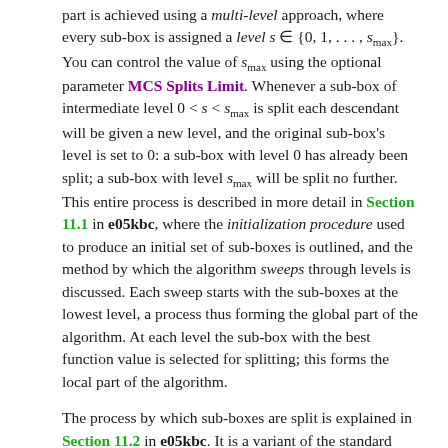part is achieved using a multi-level approach, where every sub-box is assigned a level s ∈ {0, 1, …, s_max}. You can control the value of s_max using the optional parameter MCS Splits Limit. Whenever a sub-box of intermediate level 0 < s < s_max is split each descendant will be given a new level, and the original sub-box's level is set to 0: a sub-box with level 0 has already been split; a sub-box with level s_max will be split no further. This entire process is described in more detail in Section 11.1 in e05kbc, where the initialization procedure used to produce an initial set of sub-boxes is outlined, and the method by which the algorithm sweeps through levels is discussed. Each sweep starts with the sub-boxes at the lowest level, a process thus forming the global part of the algorithm. At each level the sub-box with the best function value is selected for splitting; this forms the local part of the algorithm.
The process by which sub-boxes are split is explained in Section 11.2 in e05kbc. It is a variant of the standard coordinate search method: the solver splits along a single coordinate at a time, at adaptively chosen points. In most